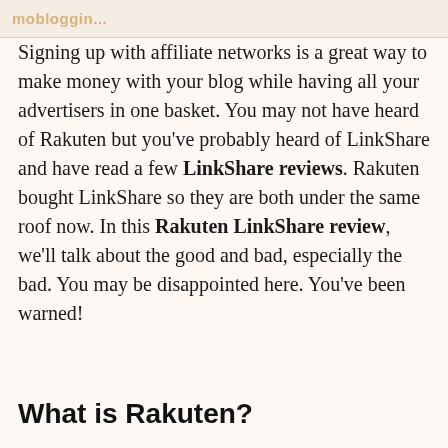mоbloggin...
Signing up with affiliate networks is a great way to make money with your blog while having all your advertisers in one basket. You may not have heard of Rakuten but you've probably heard of LinkShare and have read a few LinkShare reviews. Rakuten bought LinkShare so they are both under the same roof now. In this Rakuten LinkShare review, we'll talk about the good and bad, especially the bad. You may be disappointed here. You've been warned!
What is Rakuten?